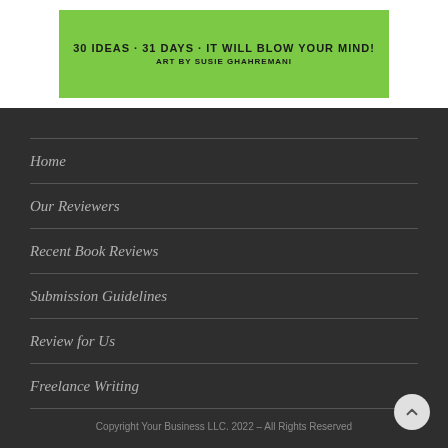[Figure (illustration): Book cover with green background showing text: '30 IDEAS · 31 DAYS · IT WILL BLOW YOUR MIND! ART BY SUSIE GHAHREMANI']
Home
Our Reviewers
Recent Book Reviews
Submission Guidelines
Review for Us
Freelance Writing
Copyright Your Business LLC. 2022 – All Rights Reserved